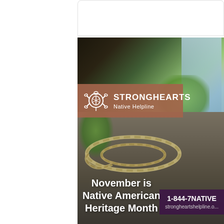Read 27 replies
[Figure (photo): StrongHearts Native Helpline promotional image for Native American Heritage Month. Shows a braided sweetgrass circle on a rock with a waterfall and green foliage in the background. Logo banner shows turtle icon with 'STRONGHEARTS Native Helpline' text. Bottom left text reads 'November is Native American Heritage Month'. Bottom right shows contact: 1-844-7NATIVE and strongheartshelpline.o...]
November is Native American Heritage Month
1-844-7NATIVE
strongheartshelpline.o...